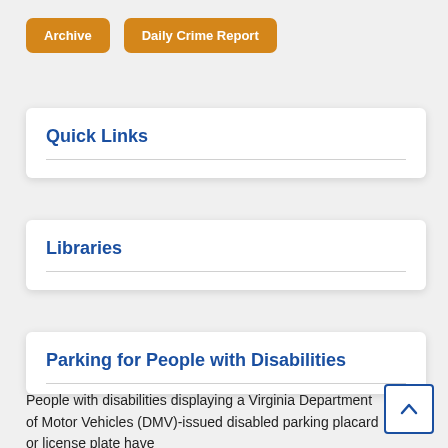Archive
Daily Crime Report
Quick Links
Libraries
Parking for People with Disabilities
People with disabilities displaying a Virginia Department of Motor Vehicles (DMV)-issued disabled parking placard or license plate have